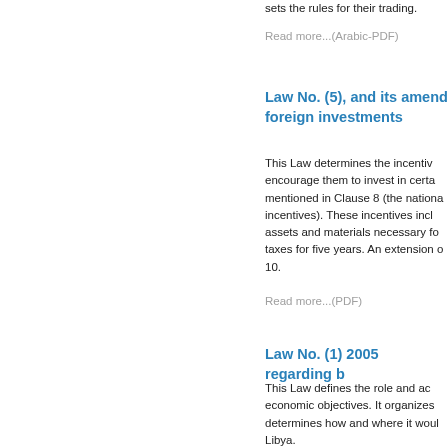sets the rules for their trading.
Read more...(Arabic-PDF)
Law No. (5), and its amendments, regarding foreign investments
This Law determines the incentives given to foreign investors to encourage them to invest in certain activities that are mentioned in Clause 8 (the national priorities that deserve incentives). These incentives include exemption of assets and materials necessary for the project from customs, taxes for five years. An extension of this exemption is in Article 10.
Read more...(PDF)
Law No. (1) 2005 regarding b
This Law defines the role and activities of the bank in economic objectives. It organizes the bank's tasks and determines how and where it would invest its funds inside Libya.